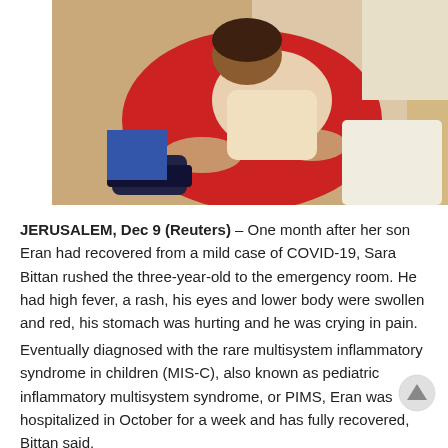[Figure (photo): A person wearing a red shirt holding or comforting a child; indoor setting.]
JERUSALEM, Dec 9 (Reuters) – One month after her son Eran had recovered from a mild case of COVID-19, Sara Bittan rushed the three-year-old to the emergency room. He had high fever, a rash, his eyes and lower body were swollen and red, his stomach was hurting and he was crying in pain.
Eventually diagnosed with the rare multisystem inflammatory syndrome in children (MIS-C), also known as pediatric inflammatory multisystem syndrome, or PIMS, Eran was hospitalized in October for a week and has fully recovered, Bittan said.
“It is important for me to tell parents, mothers, all over the world that there is a risk. They should know,” said Bittan. “He suffered a lot and I suffered with him.”